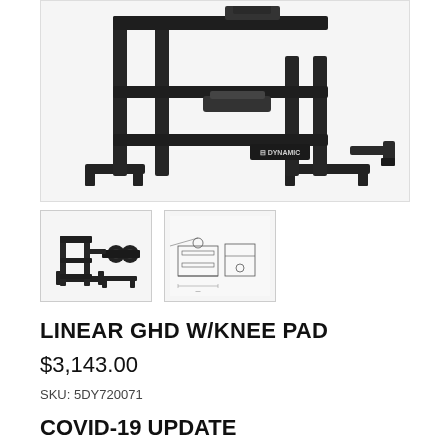[Figure (photo): Main product photo of the Linear GHD W/Knee Pad gym equipment — a black metal frame glute-ham developer with horizontal bars and base supports, showing Dynamic brand label.]
[Figure (photo): Thumbnail 1: Side-angle photo of the Linear GHD W/Knee Pad equipment in black.]
[Figure (engineering-diagram): Thumbnail 2: Technical line-drawing schematic of the Linear GHD W/Knee Pad showing dimensions and side/front views.]
LINEAR GHD W/KNEE PAD
$3,143.00
SKU: 5DY720071
COVID-19 UPDATE